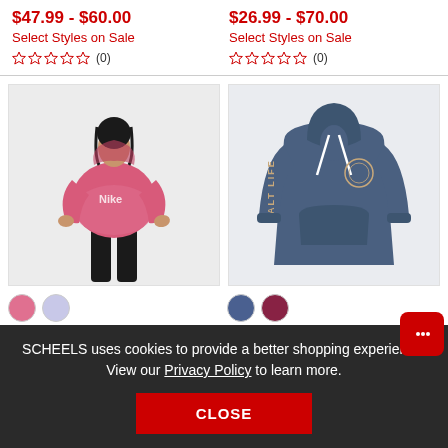$47.99 - $60.00
Select Styles on Sale
(0)
$26.99 - $70.00
Select Styles on Sale
(0)
[Figure (photo): Girl wearing pink Nike cropped hoodie with black leggings]
[Figure (photo): Blue Salt Life pullover hoodie with white drawstrings and logo on sleeve]
SCHEELS uses cookies to provide a better shopping experience. View our Privacy Policy to learn more.
CLOSE